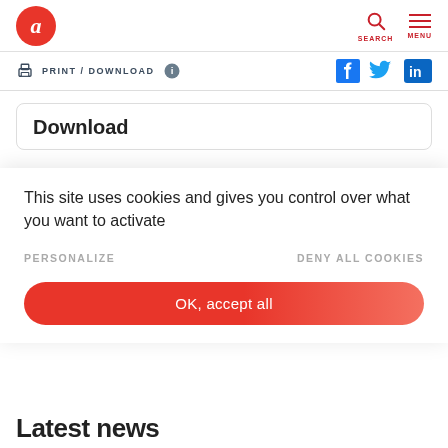a (logo) | SEARCH | MENU
PRINT / DOWNLOAD
Download
This site uses cookies and gives you control over what you want to activate
PERSONALIZE
DENY ALL COOKIES
OK, accept all
Latest news